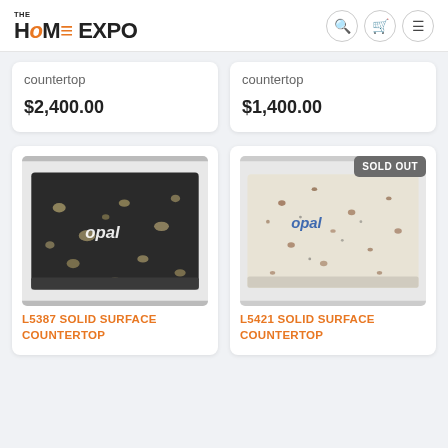THE HOME EXPO
countertop
$2,400.00
countertop
$1,400.00
[Figure (photo): Dark granite/quartz solid surface countertop sample with gold/cream mineral spots, Opal brand logo in white on surface]
L5387 SOLID SURFACE COUNTERTOP
[Figure (photo): Light cream/white quartz solid surface countertop sample with brown/rust mineral specks, Opal brand logo in blue on surface, SOLD OUT badge]
L5421 SOLID SURFACE COUNTERTOP